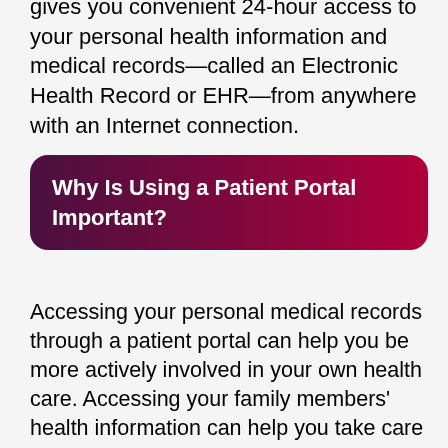gives you convenient 24-hour access to your personal health information and medical records—called an Electronic Health Record or EHR—from anywhere with an Internet connection.
Why Is Using a Patient Portal Important?
Accessing your personal medical records through a patient portal can help you be more actively involved in your own health care. Accessing your family members' health information can help you take care of them more easily. Also, patient portals offer self-service options that can eliminate phone tags